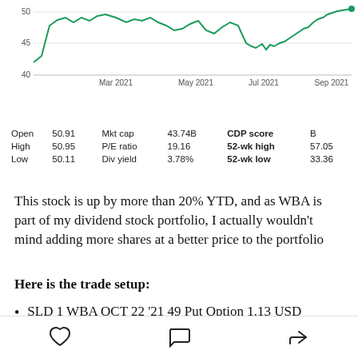[Figure (line-chart): Line chart showing WBA stock price from around Feb 2021 to Sep 2021, ranging approximately 40–52, with green line. X-axis labels: Mar 2021, May 2021, Jul 2021, Sep 2021. Y-axis labels: 40, 45, 50.]
| Open | 50.91 | Mkt cap | 43.74B | CDP score | B |
| High | 50.95 | P/E ratio | 19.16 | 52-wk high | 57.05 |
| Low | 50.11 | Div yield | 3.78% | 52-wk low | 33.36 |
This stock is up by more than 20% YTD, and as WBA is part of my dividend stock portfolio, I actually wouldn't mind adding more shares at a better price to the portfolio
Here is the trade setup:
SLD 1 WBA OCT 22 '21 49 Put Option 1.13 USD
[heart icon] [comment icon] [share icon]